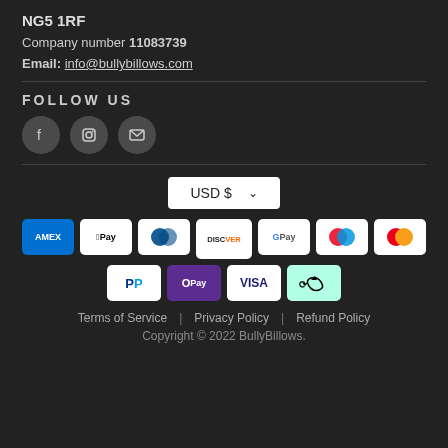NG5 1RF
Company number 11083739
Email: info@bullybillows.com
FOLLOW US
[Figure (illustration): Three social media icon buttons: Facebook (f), Instagram (camera), and email (envelope), displayed as circular dark grey icons.]
USD $ ∨
[Figure (illustration): Payment method badges: AMEX, Apple Pay, Diners Club, Discover, Google Pay, Maestro, Mastercard in first row; PayPal, OPay, Visa, Afterpay in second row.]
Terms of Service | Privacy Policy | Refund Policy
Copyright © 2022 BullyBillows.